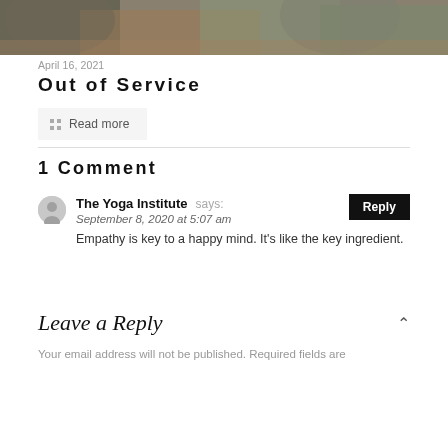[Figure (photo): Photo of animals (cats or dogs with fur) on a wooden surface with green grass in background, partially cropped at top]
April 16, 2021
Out of Service
Read more
1 Comment
The Yoga Institute says: September 8, 2020 at 5:07 am
Empathy is key to a happy mind. It's like the key ingredient.
Leave a Reply
Your email address will not be published. Required fields are